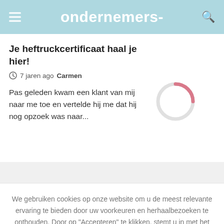ondernemers-
Je heftruckcertificaat haal je hier!
7 jaren ago  Carmen
Pas geleden kwam een klant van mij naar me toe en vertelde hij me dat hij nog opzoek was naar...
We gebruiken cookies op onze website om u de meest relevante ervaring te bieden door uw voorkeuren en herhaalbezoeken te onthouden. Door op "Accepteren" te klikken, stemt u in met het gebruik van ALLE cookies.
Cookie instellingen
ACCEPTEREN